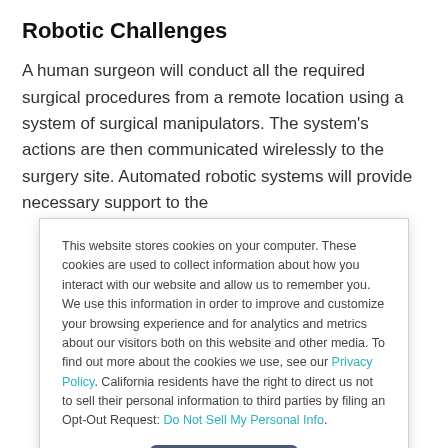Robotic Challenges
A human surgeon will conduct all the required surgical procedures from a remote location using a system of surgical manipulators. The system's actions are then communicated wirelessly to the surgery site. Automated robotic systems will provide necessary support to the
This website stores cookies on your computer. These cookies are used to collect information about how you interact with our website and allow us to remember you. We use this information in order to improve and customize your browsing experience and for analytics and metrics about our visitors both on this website and other media. To find out more about the cookies we use, see our Privacy Policy. California residents have the right to direct us not to sell their personal information to third parties by filing an Opt-Out Request: Do Not Sell My Personal Info.
Accept